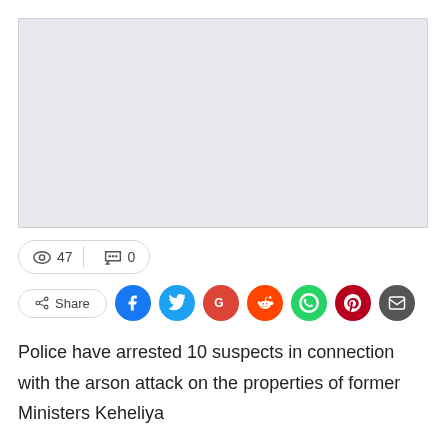[Figure (photo): Image placeholder - light grey rectangle]
👁 47  💬 0
Share (social media buttons: Facebook, Twitter, Google, Reddit, WhatsApp, Pinterest, Email)
Police have arrested 10 suspects in connection with the arson attack on the properties of former Ministers Keheliya